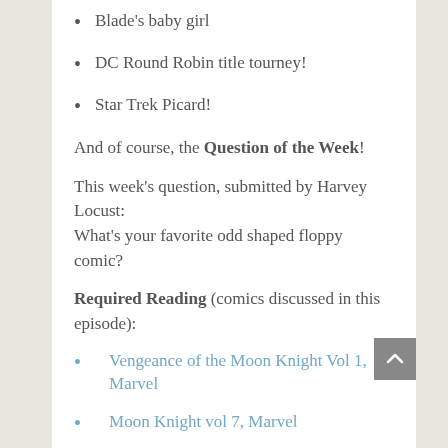Blade's baby girl
DC Round Robin title tourney!
Star Trek Picard!
And of course, the Question of the Week!
This week's question, submitted by Harvey Locust: What's your favorite odd shaped floppy comic?
Required Reading (comics discussed in this episode):
Vengeance of the Moon Knight Vol 1, Marvel
Moon Knight vol 7, Marvel
Secret Avengers Vol 1 #19, Marvel